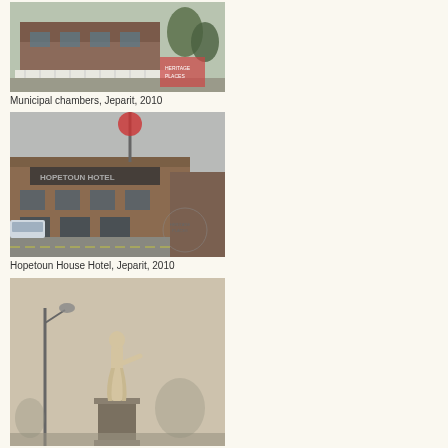[Figure (photo): Municipal chambers building in Jeparit, 2010. A historic brick building with white fence, trees visible, street view.]
Municipal chambers, Jeparit, 2010
[Figure (photo): Hopetoun House Hotel in Jeparit, 2010. A corner hotel building with signage, street intersection visible, car parked nearby.]
Hopetoun House Hotel, Jeparit, 2010
[Figure (photo): A statue on a tall pedestal in Jeparit, misty/foggy conditions, a street lamp visible to the left.]